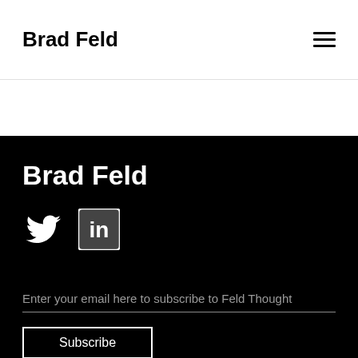Brad Feld
Brad Feld
[Figure (illustration): Twitter bird icon and LinkedIn icon in white on black background]
Enter your email here to subscribe to Feld Thought
Subscribe